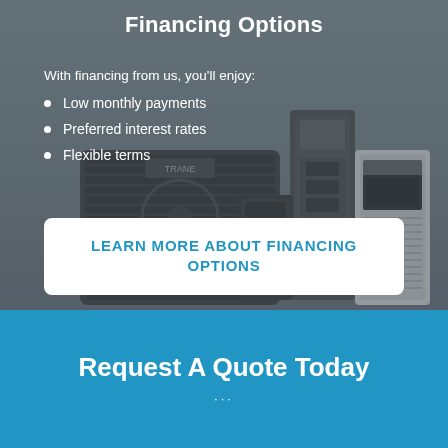Financing Options
With financing from us, you'll enjoy:
Low monthly payments
Preferred interest rates
Flexible terms
[Figure (photo): HVAC equipment including outdoor condenser unit and indoor furnace/air handler units arranged on a gray background]
LEARN MORE ABOUT FINANCING OPTIONS
Request A Quote Today
...